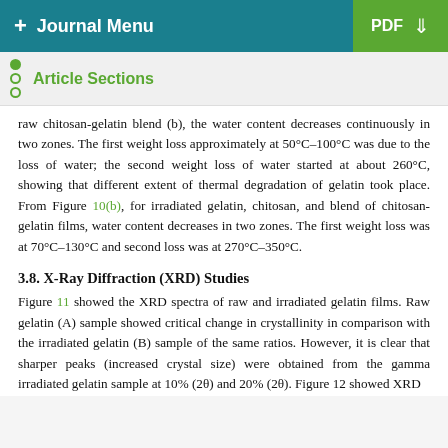+ Journal Menu   PDF ↓
Article Sections
raw chitosan-gelatin blend (b), the water content decreases continuously in two zones. The first weight loss approximately at 50°C–100°C was due to the loss of water; the second weight loss of water started at about 260°C, showing that different extent of thermal degradation of gelatin took place. From Figure 10(b), for irradiated gelatin, chitosan, and blend of chitosan-gelatin films, water content decreases in two zones. The first weight loss was at 70°C–130°C and second loss was at 270°C–350°C.
3.8. X-Ray Diffraction (XRD) Studies
Figure 11 showed the XRD spectra of raw and irradiated gelatin films. Raw gelatin (A) sample showed critical change in crystallinity in comparison with the irradiated gelatin (B) sample of the same ratios. However, it is clear that sharper peaks (increased crystal size) were obtained from the gamma irradiated gelatin sample at 10% (2θ) and 20% (2θ). Figure 12 showed XRD